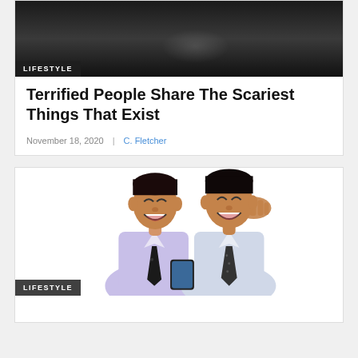[Figure (photo): Dark blurry black and white photo showing a bench or park scene at top of first article card]
LIFESTYLE
Terrified People Share The Scariest Things That Exist
November 18, 2020  |  C. Fletcher
[Figure (photo): Two men in dress shirts and ties laughing together while looking at a phone]
LIFESTYLE